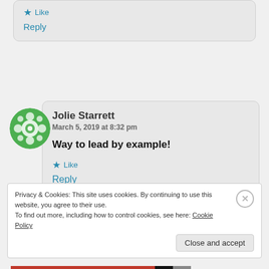Like
Reply
Jolie Starrett
March 5, 2019 at 8:32 pm
Way to lead by example!
Like
Reply
Privacy & Cookies: This site uses cookies. By continuing to use this website, you agree to their use.
To find out more, including how to control cookies, see here: Cookie Policy
Close and accept